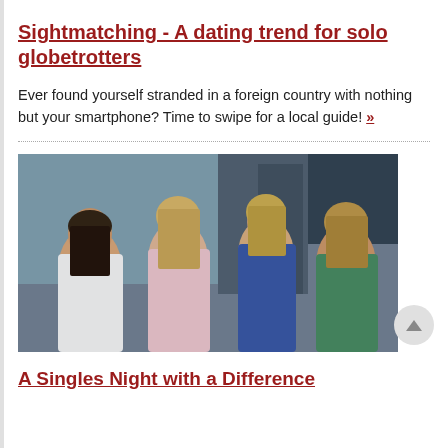Sightmatching - A dating trend for solo globetrotters
Ever found yourself stranded in a foreign country with nothing but your smartphone? Time to swipe for a local guide! »
[Figure (photo): Group of four young women posing together indoors, slightly blurry/low-resolution photo]
A Singles Night with a Difference